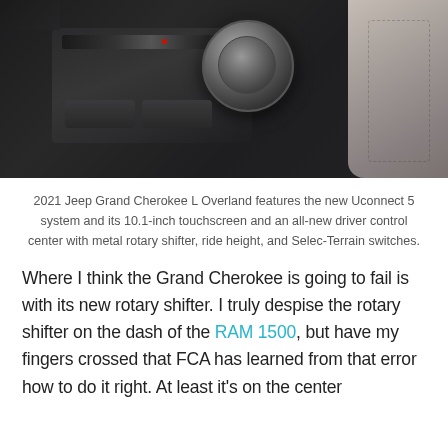[Figure (photo): Interior photo of 2021 Jeep Grand Cherokee L Overland showing the center console with rotary shifter knob, gear selector, and driver control center in dark trim]
2021 Jeep Grand Cherokee L Overland features the new Uconnect 5 system and its 10.1-inch touchscreen and an all-new driver control center with metal rotary shifter, ride height, and Selec-Terrain switches.
Where I think the Grand Cherokee is going to fail is with its new rotary shifter. I truly despise the rotary shifter on the dash of the RAM 1500, but have my fingers crossed that FCA has learned from that error how to do it right. At least it's on the center